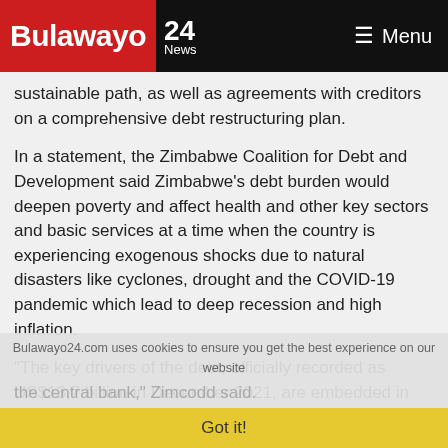Bulawayo 24 News | Menu
sustainable path, as well as agreements with creditors on a comprehensive debt restructuring plan.
In a statement, the Zimbabwe Coalition for Debt and Development said Zimbabwe's debt burden would deepen poverty and affect health and other key sectors and basic services at a time when the country is experiencing exogenous shocks due to natural disasters like cyclones, drought and the COVID-19 pandemic which lead to deep recession and high inflation.
"The key drivers of the debt, officially recorded as US$13,7 billion in December 2021, are embedded in governance challenges post-2000 land reform programme and the Democratic Republic of Congo (war), which precipitated
the central bank," Zimcodd said.
Bulawayo24.com uses cookies to ensure you get the best experience on our website
Got it!